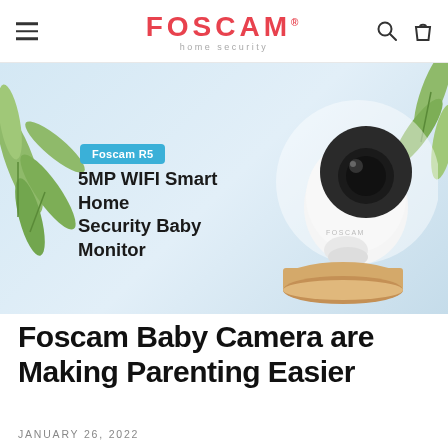FOSCAM home security
[Figure (photo): Foscam R5 5MP WIFI Smart Home Security Baby Monitor product hero image with camera on wood stand, green leaves decoration, light blue background. Badge reads 'Foscam R5'. Text reads '5MP WIFI Smart Home Security Baby Monitor'.]
Foscam Baby Camera are Making Parenting Easier
JANUARY 26, 2022